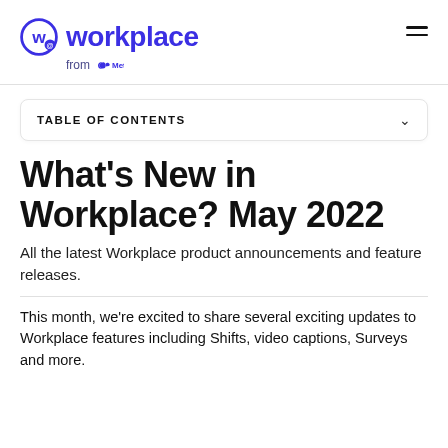workplace from Meta
TABLE OF CONTENTS
What's New in Workplace? May 2022
All the latest Workplace product announcements and feature releases.
This month, we're excited to share several exciting updates to Workplace features including Shifts, video captions, Surveys and more.